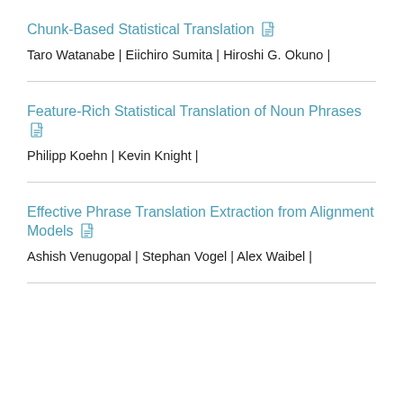Chunk-Based Statistical Translation
Taro Watanabe | Eiichiro Sumita | Hiroshi G. Okuno |
Feature-Rich Statistical Translation of Noun Phrases
Philipp Koehn | Kevin Knight |
Effective Phrase Translation Extraction from Alignment Models
Ashish Venugopal | Stephan Vogel | Alex Waibel |